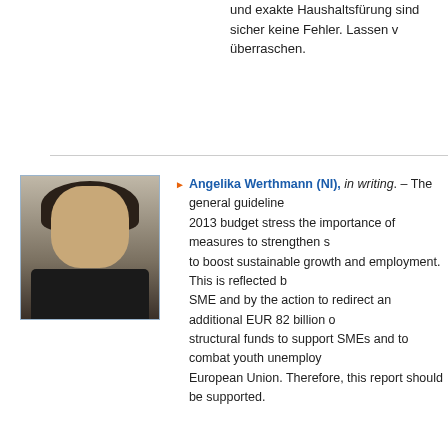und exakte Haushaltsfürung sind sicher keine Fehler. Lassen v überraschen.
[Figure (photo): Headshot photo of Angelika Werthmann, a woman with dark hair wearing a dark jacket]
Angelika Werthmann (NI), in writing. – The general guidelines 2013 budget stress the importance of measures to strengthen s to boost sustainable growth and employment. This is reflected b SME and by the action to redirect an additional EUR 82 billion o structural funds to support SMEs and to combat youth unemploy European Union. Therefore, this report should be supported.
Tisztelt Látogató! Elemzési célú sütiket használunk, hogy jobb böngészési élményt nyújtsunk Önnek. Lehetősége van arra, hogy elutasítsa vagy elfogadja őket. [Button: Elutasítom az elemzési célú sütiket] [Button: Elfogadom az elemzési célú sütiket] Az általunk használt többi sütivel és szervernaplóval kapcsolatos információkért, kérjük, olvassa el adatvédelmi szabályzatunkat , sütikre vonatkozó szabályzatunkat és sütijegyzékünket.